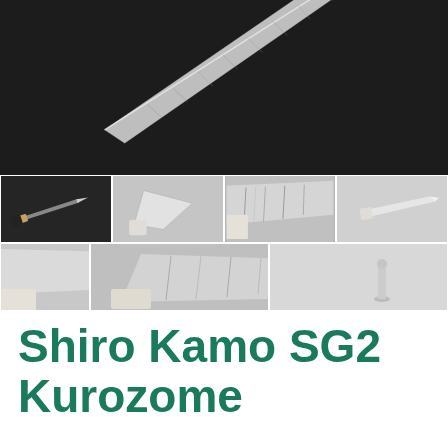[Figure (photo): Product photography collage of Japanese knives (Shiro Kamo SG2 Kurozome). Top: large hero image showing a single Damascus-pattern blade on a dark/black background. Below: two rows of thumbnail images showing various angles and close-ups of the knives, on grey/light backgrounds.]
Shiro Kamo SG2 Kurozome